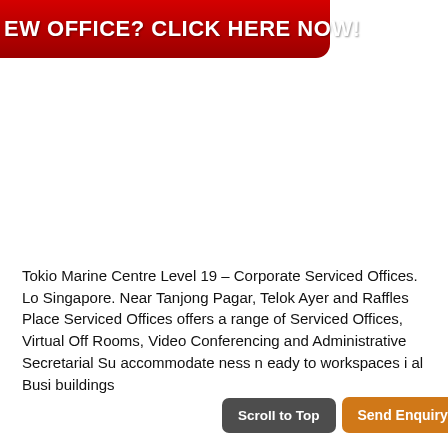[Figure (other): Red banner button with white bold text reading 'EW OFFICE? CLICK HERE NOW!' (partially cropped on left)]
Tokio Marine Centre Level 19 – Corporate Serviced Offices. Lo Singapore. Near Tanjong Pagar, Telok Ayer and Raffles Place Serviced Offices offers a range of Serviced Offices, Virtual Off Rooms, Video Conferencing and Administrative Secretarial Su accommodate ness n eady to workspaces i al Busi buildings
[Figure (other): Scroll to Top button (dark grey) and Send Enquiry button (orange) overlaid on the text at the bottom of the page]